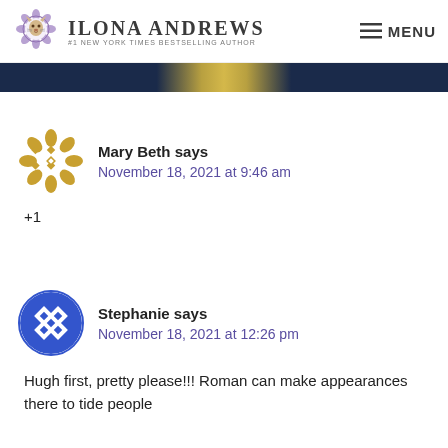Ilona Andrews — #1 New York Times Bestselling Author — MENU
[Figure (illustration): Dark navy and gold banner strip, partial book cover or decorative banner]
Mary Beth says
November 18, 2021 at 9:46 am
+1
Stephanie says
November 18, 2021 at 12:26 pm
Hugh first, pretty please!!! Roman can make appearances there to tide people